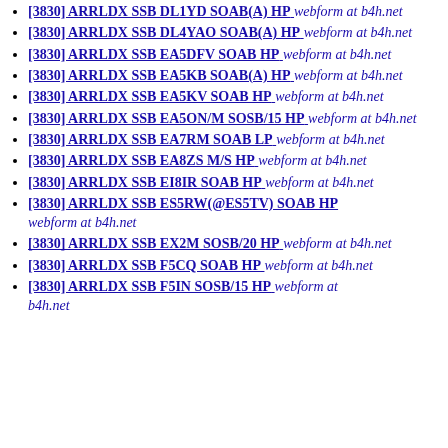[3830] ARRLDX SSB DL1YD SOAB(A) HP  webform at b4h.net
[3830] ARRLDX SSB DL4YAO SOAB(A) HP  webform at b4h.net
[3830] ARRLDX SSB EA5DFV SOAB HP  webform at b4h.net
[3830] ARRLDX SSB EA5KB SOAB(A) HP  webform at b4h.net
[3830] ARRLDX SSB EA5KV SOAB HP  webform at b4h.net
[3830] ARRLDX SSB EA5ON/M SOSB/15 HP  webform at b4h.net
[3830] ARRLDX SSB EA7RM SOAB LP  webform at b4h.net
[3830] ARRLDX SSB EA8ZS M/S HP  webform at b4h.net
[3830] ARRLDX SSB EI8IR SOAB HP  webform at b4h.net
[3830] ARRLDX SSB ES5RW(@ES5TV) SOAB HP  webform at b4h.net
[3830] ARRLDX SSB EX2M SOSB/20 HP  webform at b4h.net
[3830] ARRLDX SSB F5CQ SOAB HP  webform at b4h.net
[3830] ARRLDX SSB F5IN SOSB/15 HP  webform at b4h.net